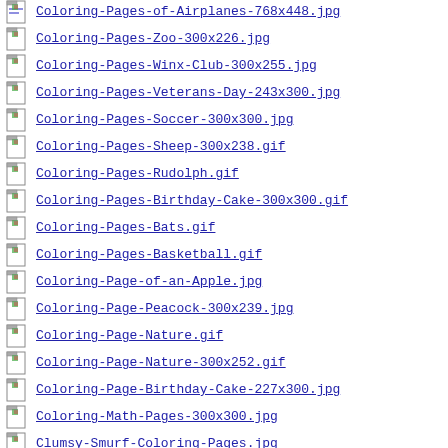Coloring-Pages-of-Airplanes-768x448.jpg
Coloring-Pages-Zoo-300x226.jpg
Coloring-Pages-Winx-Club-300x255.jpg
Coloring-Pages-Veterans-Day-243x300.jpg
Coloring-Pages-Soccer-300x300.jpg
Coloring-Pages-Sheep-300x238.gif
Coloring-Pages-Rudolph.gif
Coloring-Pages-Birthday-Cake-300x300.gif
Coloring-Pages-Bats.gif
Coloring-Pages-Basketball.gif
Coloring-Page-of-an-Apple.jpg
Coloring-Page-Peacock-300x239.jpg
Coloring-Page-Nature.gif
Coloring-Page-Nature-300x252.gif
Coloring-Page-Birthday-Cake-227x300.jpg
Coloring-Math-Pages-300x300.jpg
Clumsy-Smurf-Coloring-Pages.jpg
Club-Penguin-Coloring-Pages-to-Print-251x300.jpg
Club-Penguin-Coloring-Pages-...